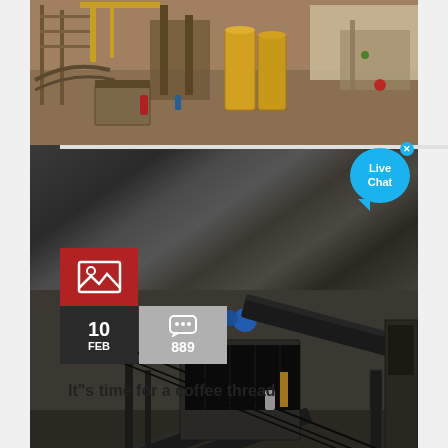[Figure (photo): Aerial view of industrial mining equipment and machinery with yellow structures and cranes, top portion]
[Figure (photo): Aerial view of mining conveyor belts and processing equipment in dark tones, bottom portion]
[Figure (infographic): Red image icon overlay box on photo]
[Figure (infographic): Date block showing 10 FEB in dark box]
[Figure (infographic): Comment count block showing speech bubble icon and 889 in grey box]
[Figure (infographic): Live Chat speech bubble overlay in blue with X close button]
It"s time for a coffee thread